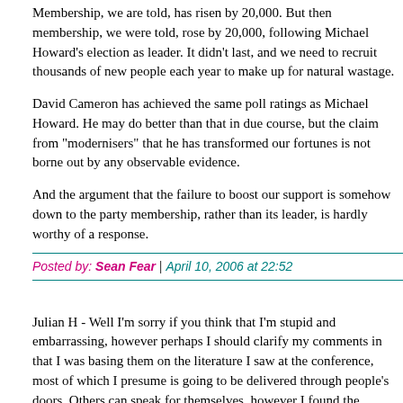Membership, we are told, has risen by 20,000. But then membership, we were told, rose by 20,000, following Michael Howard's election as leader. It didn't last, and we need to recruit thousands of new people each year to make up for natural wastage.
David Cameron has achieved the same poll ratings as Michael Howard. He may do better than that in due course, but the claim from "modernisers" that he has transformed our fortunes is not borne out by any observable evidence.
And the argument that the failure to boost our support is somehow down to the party membership, rather than its leader, is hardly worthy of a response.
Posted by: Sean Fear | April 10, 2006 at 22:52
Julian H - Well I'm sorry if you think that I'm stupid and embarrassing, however perhaps I should clarify my comments in that I was basing them on the literature I saw at the conference, most of which I presume is going to be delivered through people's doors. Others can speak for themselves, however I found the literature's general message patronising, and in the case of the "Personals" section in the Change newspaper cringe-worthy. If I were told to deliver these leaflets in my local ward I would send them back as I don't believe the message on them is either effective nor would it convince many floating voters in my opinion to switch, and before I am criticised again I am basing my opinions on my experience of the general election campaign where good quality local Conservative literature...